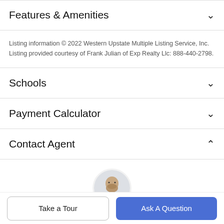Features & Amenities
Listing information © 2022 Western Upstate Multiple Listing Service, Inc. Listing provided courtesy of Frank Julian of Exp Realty Llc: 888-440-2798.
Schools
Payment Calculator
Contact Agent
[Figure (photo): Circular profile photo of real estate agent Frank Julian]
Take a Tour
Ask A Question